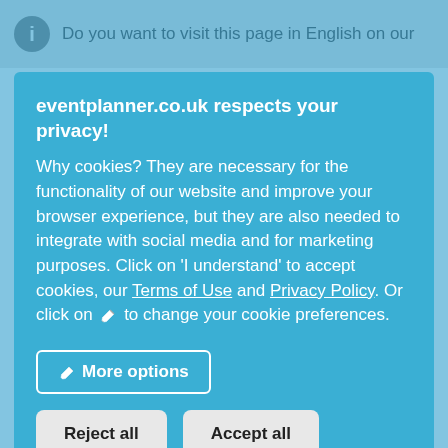Do you want to visit this page in English on our…
eventplanner.co.uk respects your privacy!
Why cookies? They are necessary for the functionality of our website and improve your browser experience, but they are also needed to integrate with social media and for marketing purposes. Click on 'I understand' to accept cookies, our Terms of Use and Privacy Policy. Or click on ✎ to change your cookie preferences.
More options
Reject all
Accept all
Kinepolis Gent | Belgium | Sales & marketing
Are you a creative jack-of-all-trades who can also handle numbers? Do you like multitasking and do you want to secure a place within our B2B team? Apply now and become our …